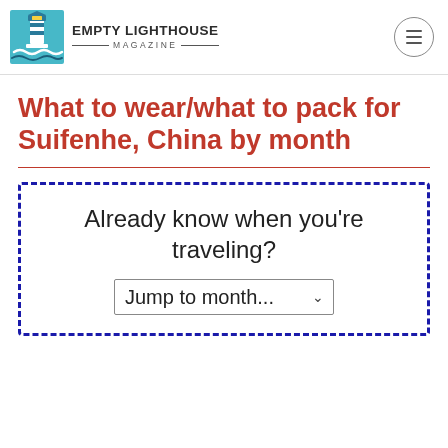[Figure (logo): Empty Lighthouse Magazine logo with lighthouse illustration in teal/blue tones and text 'EMPTY LIGHTHOUSE MAGAZINE']
What to wear/what to pack for Suifenhe, China by month
Already know when you're traveling?
Jump to month...